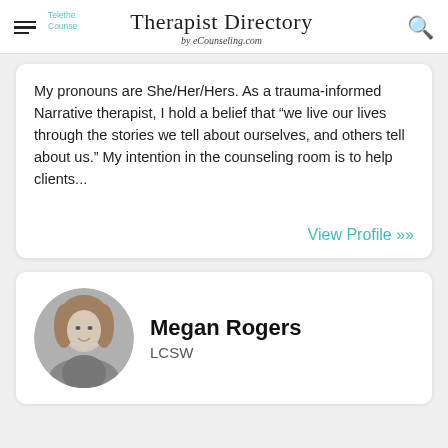Therapist Directory by eCounseling.com
My pronouns are She/Her/Hers. As a trauma-informed Narrative therapist, I hold a belief that “we live our lives through the stories we tell about ourselves, and others tell about us.” My intention in the counseling room is to help clients...
View Profile »
Megan Rogers
LCSW